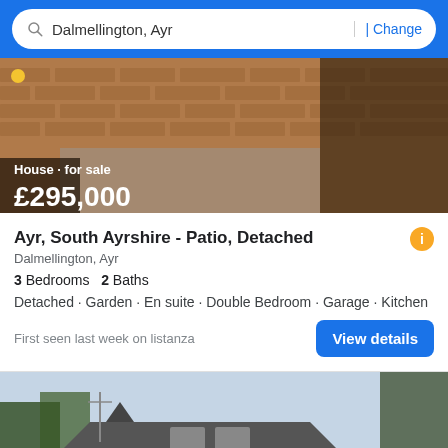Dalmellington, Ayr | Change
[Figure (photo): Exterior photo of a house with a brick wall and gate, showing the property for sale]
House · for sale
£295,000
Ayr, South Ayrshire - Patio, Detached
Dalmellington, Ayr
3 Bedrooms  2 Baths
Detached · Garden · En suite · Double Bedroom · Garage · Kitchen
First seen last week on listanza
[Figure (photo): Exterior photo of a detached house with dark roof and brick walls, second property listing]
Filter
18 pictures >